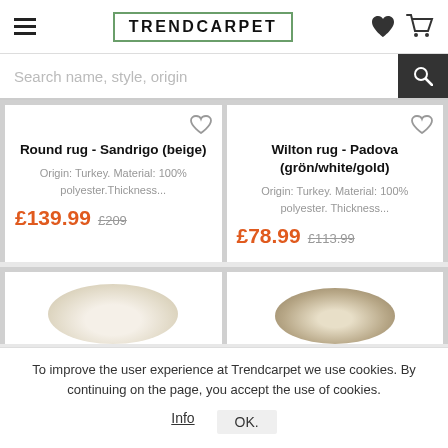TRENDCARPET
Search name, style, origin
Round rug - Sandrigo (beige)
Origin: Turkey. Material: 100% polyester.Thickness...
£139.99 £209
Wilton rug - Padova (grön/white/gold)
Origin: Turkey. Material: 100% polyester. Thickness...
£78.99 £113.99
[Figure (photo): Partial view of a round beige rug]
[Figure (photo): Partial view of a round rug]
To improve the user experience at Trendcarpet we use cookies. By continuing on the page, you accept the use of cookies.
Info   OK.